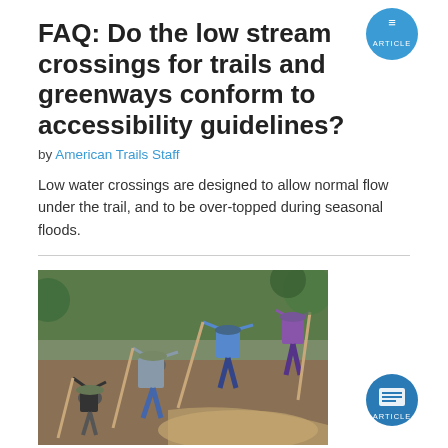FAQ: Do the low stream crossings for trails and greenways conform to accessibility guidelines?
by American Trails Staff
Low water crossings are designed to allow normal flow under the trail, and to be over-topped during seasonal floods.
[Figure (photo): Workers digging and grading a trail using hand tools on a hillside in a wooded area]
published Aug 2018
College trails program funded